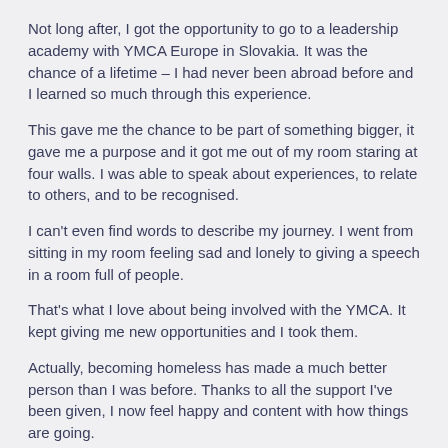Not long after, I got the opportunity to go to a leadership academy with YMCA Europe in Slovakia. It was the chance of a lifetime – I had never been abroad before and I learned so much through this experience.
This gave me the chance to be part of something bigger, it gave me a purpose and it got me out of my room staring at four walls. I was able to speak about experiences, to relate to others, and to be recognised.
I can't even find words to describe my journey. I went from sitting in my room feeling sad and lonely to giving a speech in a room full of people.
That's what I love about being involved with the YMCA. It kept giving me new opportunities and I took them.
Actually, becoming homeless has made a much better person than I was before. Thanks to all the support I've been given, I now feel happy and content with how things are going.
I wish there were more projects like this around because it would transform many lives.
I am so grateful for having the YMCA influence my life and shape my future.